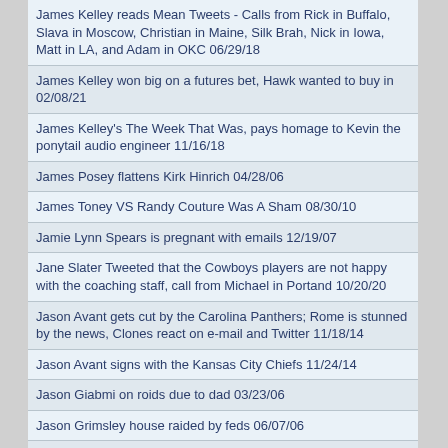James Kelley reads Mean Tweets - Calls from Rick in Buffalo, Slava in Moscow, Christian in Maine, Silk Brah, Nick in Iowa, Matt in LA, and Adam in OKC 06/29/18
James Kelley won big on a futures bet, Hawk wanted to buy in 02/08/21
James Kelley's The Week That Was, pays homage to Kevin the ponytail audio engineer 11/16/18
James Posey flattens Kirk Hinrich 04/28/06
James Toney VS Randy Couture Was A Sham 08/30/10
Jamie Lynn Spears is pregnant with emails 12/19/07
Jane Slater Tweeted that the Cowboys players are not happy with the coaching staff, call from Michael in Portand 10/20/20
Jason Avant gets cut by the Carolina Panthers; Rome is stunned by the news, Clones react on e-mail and Twitter 11/18/14
Jason Avant signs with the Kansas City Chiefs 11/24/14
Jason Giabmi on roids due to dad 03/23/06
Jason Grimsley house raided by feds 06/07/06
Jason Kendall will fight 05/03/06
Jason Stewart "J-Stew" - According to Jim outtakes 03/10/06
Jason Stewart 9th anniversary 04/22/08
Jason Stewart coldplay ringtone 10/30/06
Jason Stewart on ESPN with Ocho Cinco 03/18/08
Jason Stewart Sings Weighson Sherbert 02/25/11
Jason Stewart skydiving 07/23/08